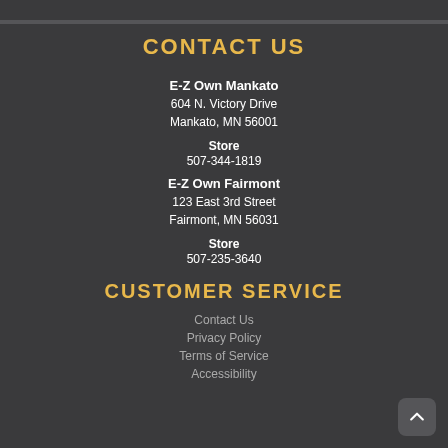CONTACT US
E-Z Own Mankato
604 N. Victory Drive
Mankato, MN 56001
Store
507-344-1819
E-Z Own Fairmont
123 East 3rd Street
Fairmont, MN 56031
Store
507-235-3640
CUSTOMER SERVICE
Contact Us
Privacy Policy
Terms of Service
Accessibility